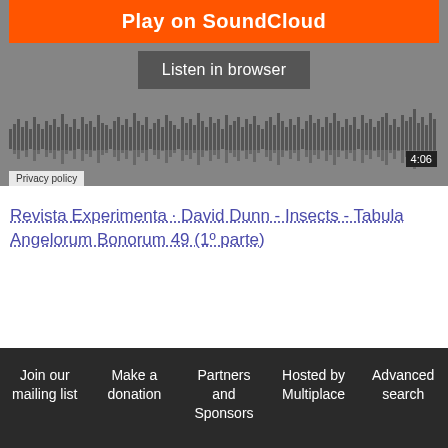[Figure (screenshot): SoundCloud embedded player widget showing orange 'Play on SoundCloud' button, grey 'Listen in browser' button, audio waveform visualization with time badge '4:06', and Privacy policy label]
Revista Experimenta · David Dunn - Insects - Tabula Angelorum Bonorum 49 (1º parte)
Join our mailing list   Make a donation   Partners and Sponsors   Hosted by Multiplace   Advanced search